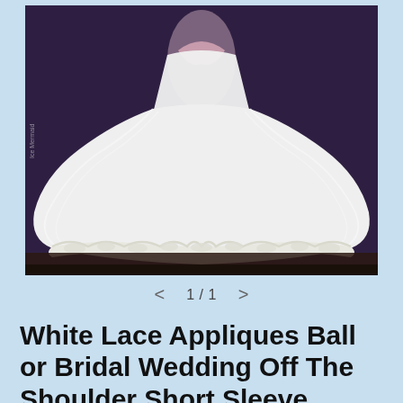[Figure (photo): A white ball gown / bridal wedding dress with lace appliques along the hem and off-the-shoulder short sleeves, photographed against a dark background. The dress has a voluminous tulle skirt that spreads wide on the floor.]
< 1/1 >
White Lace Appliques Ball or Bridal Wedding Off The Shoulder Short Sleeve Dress